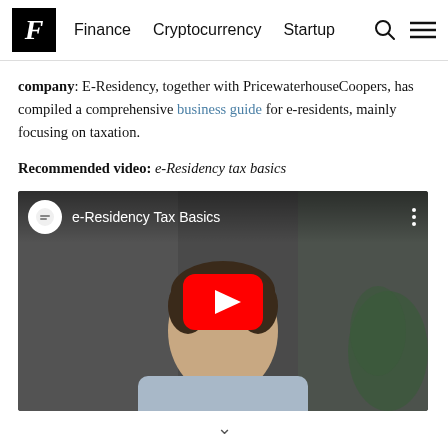F  Finance  Cryptocurrency  Startup
company: E-Residency, together with PricewaterhouseCoopers, has compiled a comprehensive business guide for e-residents, mainly focusing on taxation.
Recommended video: e-Residency tax basics
[Figure (screenshot): YouTube video thumbnail showing 'e-Residency Tax Basics' with a man in a light blue shirt smiling at the camera, with a play button overlay in the center.]